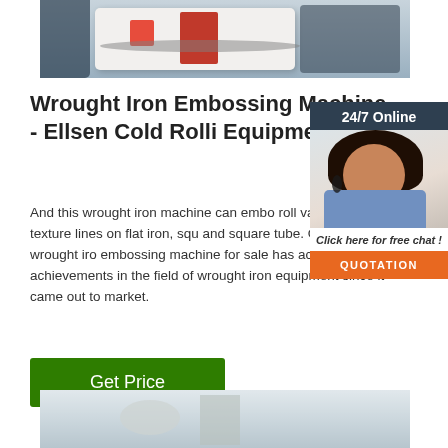[Figure (photo): Industrial wrought iron embossing machine, white and red colored, in a factory setting]
Wrought Iron Embossing Machine - Ellsen Cold Rolli Equipment
[Figure (photo): Customer service representative with headset, 24/7 Online support widget with Click here for free chat and QUOTATION button]
And this wrought iron machine can embo roll various texture lines on flat iron, squ and square tube. Our Ellsen wrought iro embossing machine for sale has acquire achievements in the field of wrought iron equipment since it came out to market.
Get Price
[Figure (photo): Factory interior with metal equipment, partially visible at bottom of page]